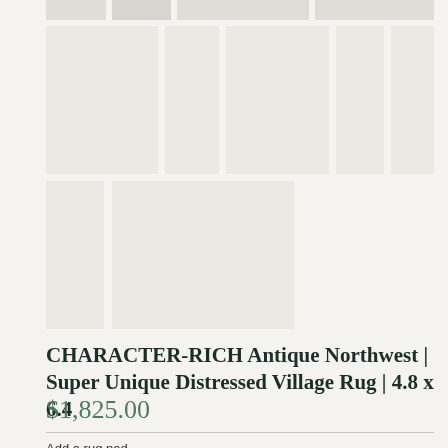[Figure (photo): Partial top row of product thumbnail images, mostly cut off at top]
[Figure (photo): Second row of product thumbnail images showing rug views, light grey placeholder squares]
[Figure (photo): Third row of two product thumbnail images, light grey placeholder squares]
CHARACTER-RICH Antique Northwest | Super Unique Distressed Village Rug | 4.8 x 6.4
$1,825.00
Add a rug pad
without rug pad
Quantity